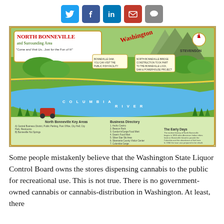[Figure (other): Social media sharing icons: Twitter (blue bird), Facebook (blue f), LinkedIn (blue in), Email (red envelope), Chat (grey speech bubble)]
[Figure (map): Illustrated tourist/cartoon map of North Bonneville and Surrounding Area in Washington State, showing the Columbia River, local landmarks, business directory, key areas, and early days historical information.]
Some people mistakenly believe that the Washington State Liquor Control Board owns the stores dispensing cannabis to the public for recreational use. This is not true. There is no government-owned cannabis or cannabis-distribution in Washington. At least, there